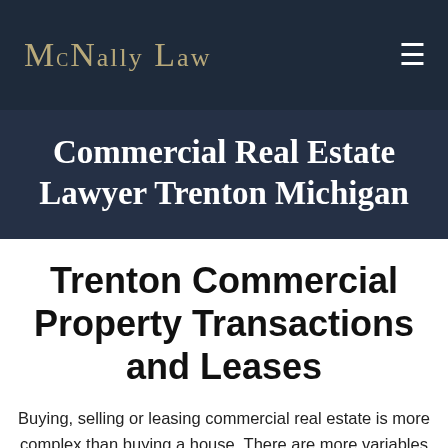McNally Law
Commercial Real Estate Lawyer Trenton Michigan
Trenton Commercial Property Transactions and Leases
Buying, selling or leasing commercial real estate is more complex than buying a house. There are more variables